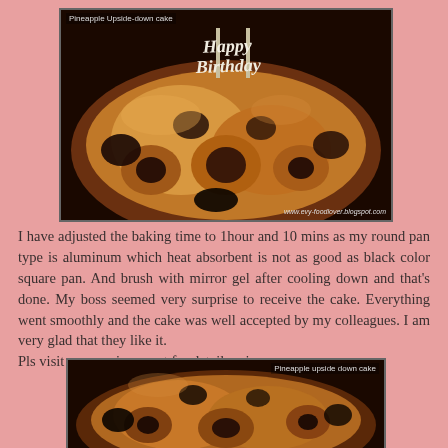[Figure (photo): Pineapple upside-down cake with a Happy Birthday decoration topper, watermark: www.evy-foodlover.blogspot.com]
I have adjusted the baking time to 1hour and 10 mins as my round pan type is aluminum which heat absorbent is not as good as black color square pan. And brush with mirror gel after cooling down and that's done. My boss seemed very surprise to receive the cake. Everything went smoothly and the cake was well accepted by my colleagues. I am very glad that they like it.
Pls visit my previous post for detail recipe.
[Figure (photo): Pineapple upside down cake close-up view from above]